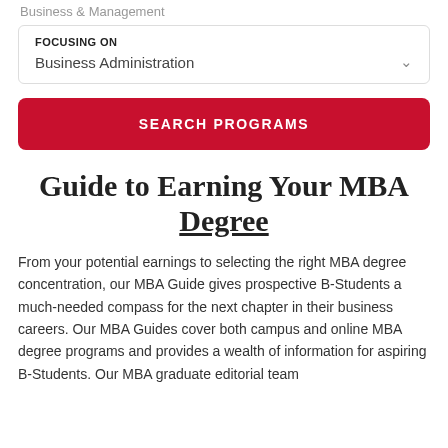Business & Management
FOCUSING ON
Business Administration
SEARCH PROGRAMS
Guide to Earning Your MBA Degree
From your potential earnings to selecting the right MBA degree concentration, our MBA Guide gives prospective B-Students a much-needed compass for the next chapter in their business careers. Our MBA Guides cover both campus and online MBA degree programs and provides a wealth of information for aspiring B-Students. Our MBA graduate editorial team